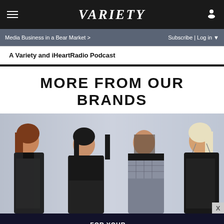VARIETY
Media Business in a Bear Market >
Subscribe | Log in
A Variety and iHeartRadio Podcast
MORE FROM OUR BRANDS
[Figure (photo): Four young women in black outfits posing together against a light blue/grey background]
[Figure (infographic): Hacks FOR YOUR EMMY® CONSIDERATION advertisement banner with dark blue background and yellow Hacks logo text]